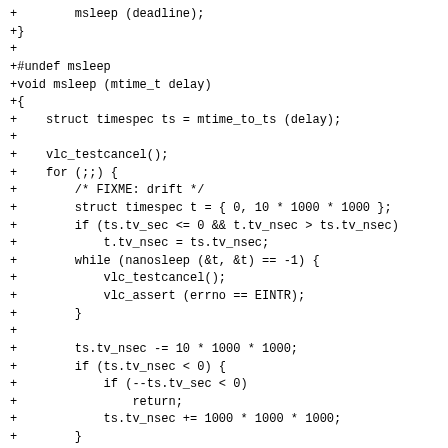+        msleep (deadline);
+}
+
+#undef msleep
+void msleep (mtime_t delay)
+{
+    struct timespec ts = mtime_to_ts (delay);
+
+    vlc_testcancel();
+    for (;;) {
+        /* FIXME: drift */
+        struct timespec t = { 0, 10 * 1000 * 1000 };
+        if (ts.tv_sec <= 0 && t.tv_nsec > ts.tv_nsec)
+            t.tv_nsec = ts.tv_nsec;
+        while (nanosleep (&t, &t) == -1) {
+            vlc_testcancel();
+            vlc_assert (errno == EINTR);
+        }
+
+        ts.tv_nsec -= 10 * 1000 * 1000;
+        if (ts.tv_nsec < 0) {
+            if (--ts.tv_sec < 0)
+                return;
+            ts.tv_nsec += 1000 * 1000 * 1000;
+        }
+    }
+}
+
+/* cpu */
+